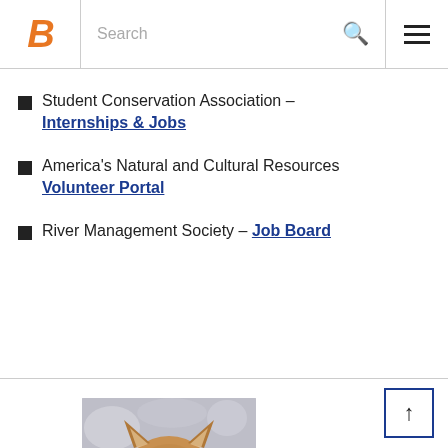Boise State University – Search – Navigation menu
Student Conservation Association – Internships & Jobs
America's Natural and Cultural Resources Volunteer Portal
River Management Society – Job Board
[Figure (photo): Close-up photo of a mountain lion (cougar) face with blurred background]